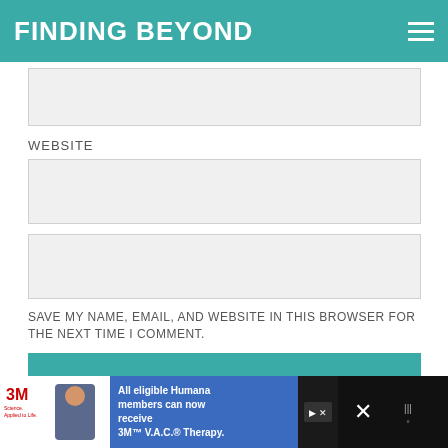FINDING BEYOND
[Figure (other): Email input text field (grey box)]
WEBSITE
[Figure (other): Website input text field (grey box)]
[Figure (other): Additional input text field (grey box)]
SAVE MY NAME, EMAIL, AND WEBSITE IN THIS BROWSER FOR THE NEXT TIME I COMMENT.
Post Comment
[Figure (other): CommentLuv input text field (grey box)]
[Figure (logo): CommentLuv logo with red wings and teal text]
[Figure (screenshot): 3M advertisement banner: All eligible Humana members can now receive 3M V.A.C. Therapy.]